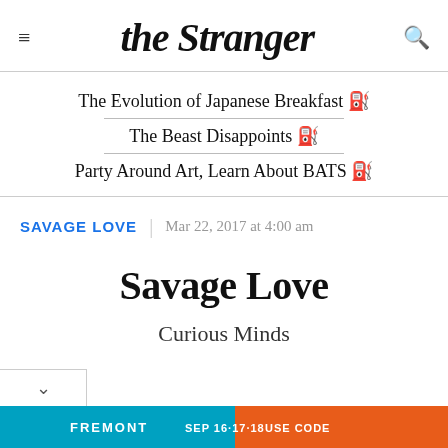the Stranger
The Evolution of Japanese Breakfast 🔗
The Beast Disappoints 🔗
Party Around Art, Learn About BATS 🔗
SAVAGE LOVE | Mar 22, 2017 at 4:00 am
Savage Love
Curious Minds